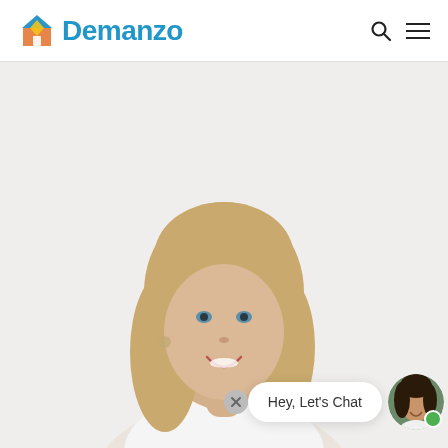[Figure (logo): Demanzo logo with blue and orange/yellow house icon and blue text 'Demanzo']
[Figure (illustration): Search and hamburger menu icons in the top right navigation]
[Figure (photo): Photo of a smiling blonde woman with curly hair against a light background]
[Figure (screenshot): Chat widget with close X button, speech bubble saying 'Hey, Let's Chat', and circular avatar of a dark-haired woman with a green online indicator dot]